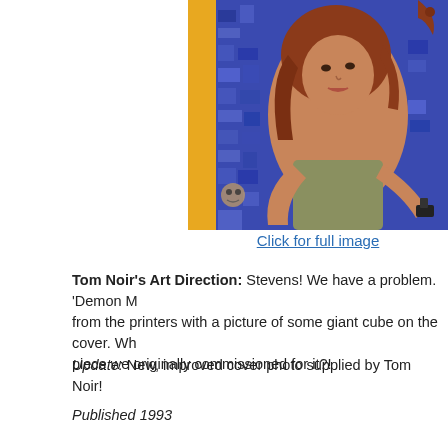[Figure (illustration): Partial book cover showing a woman with auburn hair holding a gun, wearing a tank top, against a blue illustrated background with geometric/city shapes. A creature appears in the upper right corner.]
Click for full image
Tom Noir's Art Direction: Stevens! We have a problem. 'Demon M... from the printers with a picture of some giant cube on the cover. Wh... piece we originally commissioned for it?!
Update: New, improved cover photo supplied by Tom Noir!
Published 1993